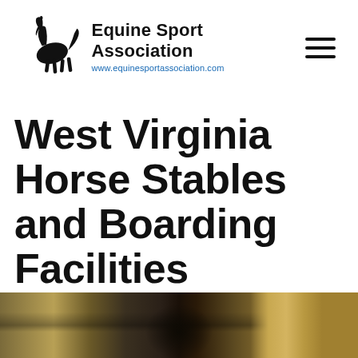Equine Sport Association www.equinesportassociation.com
West Virginia Horse Stables and Boarding Facilities
[Figure (photo): Interior of a horse stable showing stall bars, hay/straw walls, and a dark silhouette of a horse or bird in the center]